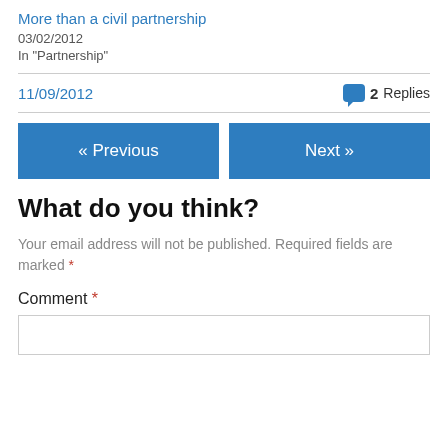More than a civil partnership
03/02/2012
In "Partnership"
11/09/2012   2 Replies
« Previous   Next »
What do you think?
Your email address will not be published. Required fields are marked *
Comment *